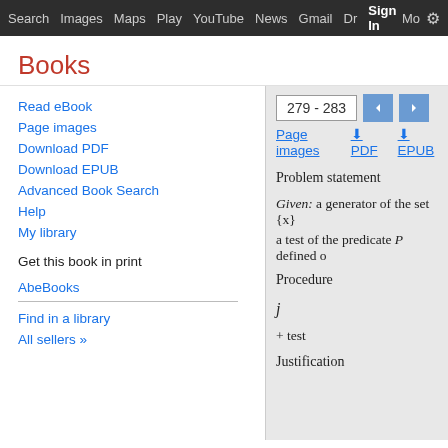Search  Images  Maps  Play  YouTube  News  Gmail  Drive  More  Sign In  ⚙
Books
279 - 283
Page images
PDF
EPUB
Read eBook
Page images
Download PDF
Download EPUB
Advanced Book Search
Help
My library
Get this book in print
AbeBooks
Find in a library
All sellers »
Problem statement
Given: a generator of the set {x}
a test of the predicate P defined o
Procedure
j
+ test
Justification